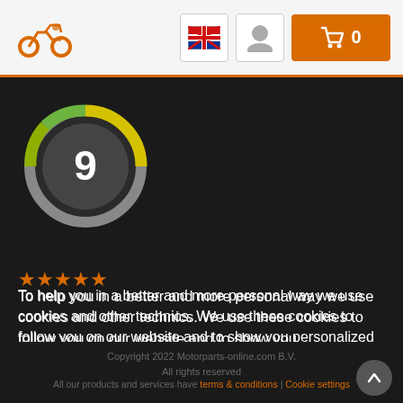Motorparts-online.com header with logo, language selector, user icon, and cart button showing 0 items
[Figure (other): Rating circle showing score of 9 with yellow/green gradient ring on dark background]
[Figure (other): Five orange stars rating display]
To help you in a better and more personal way we use cookies and other technics. We use these cookies to follow you on our website and to show you personalized advertisements and information. By clicking accept, you consent to our cookies on this device in accordance with our policy. More info
Accept
Decline
Copyright 2022 Motorparts-online.com B.V. All rights reserved
All our products and services have terms & conditions | Cookie settings